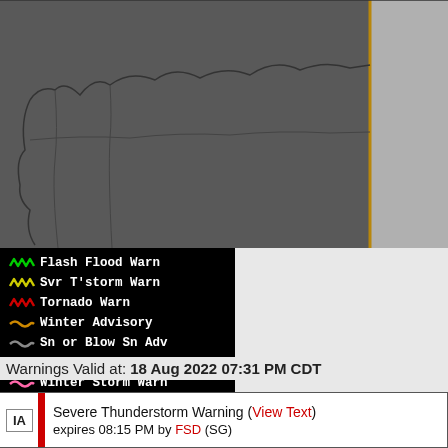[Figure (map): Weather map showing geographic region split into two sections: left/main area in dark gray (#555) showing state/county boundaries in darker lines, and right section in lighter gray. A vertical orange/amber line divides the sections near the right side of the main map area.]
[Figure (infographic): Weather warning legend on black background listing: Flash Flood Warn (green squiggle), Svr T'storm Warn (yellow squiggle), Tornado Warn (red squiggle), Winter Advisory (orange squiggle), Sn or Blow Sn Adv (dark gray squiggle), Heavy Snow Warn (purple squiggle), Winter Storm Warn (pink squiggle), Ice/Frz/Sleet Warn (magenta squiggle), Blizzard Warn (dark red squiggle)]
Warnings Valid at: 18 Aug 2022 07:31 PM CDT
| State | Warning | Details |
| --- | --- | --- |
| IA | Severe Thunderstorm Warning (View Text) | expires 08:15 PM by FSD (SG) |